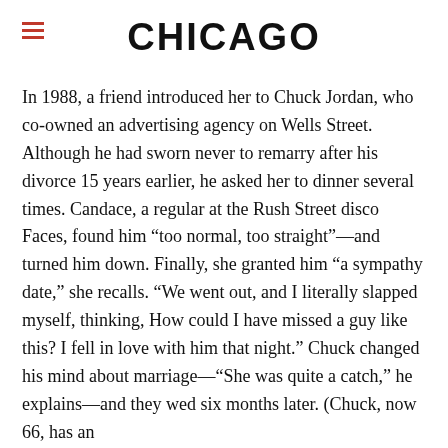CHICAGO
In 1988, a friend introduced her to Chuck Jordan, who co-owned an advertising agency on Wells Street. Although he had sworn never to remarry after his divorce 15 years earlier, he asked her to dinner several times. Candace, a regular at the Rush Street disco Faces, found him “too normal, too straight”—and turned him down. Finally, she granted him “a sympathy date,” she recalls. “We went out, and I literally slapped myself, thinking, How could I have missed a guy like this? I fell in love with him that night.” Chuck changed his mind about marriage—“She was quite a catch,” he explains—and they wed six months later. (Chuck, now 66, has an